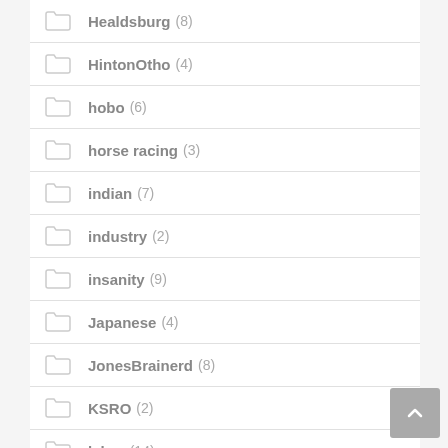Healdsburg (8)
HintonOtho (4)
hobo (6)
horse racing (3)
indian (7)
industry (2)
insanity (9)
Japanese (4)
JonesBrainerd (8)
KSRO (2)
labor (14)
Laguna (3)